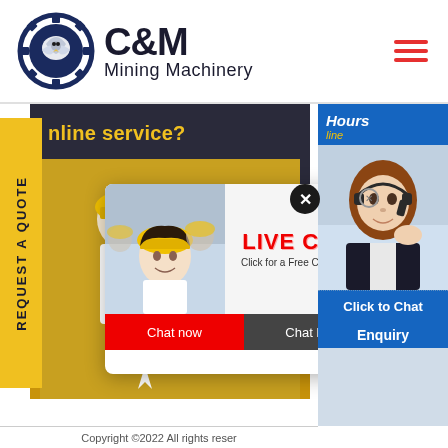[Figure (logo): C&M Mining Machinery logo with eagle gear emblem]
[Figure (screenshot): Mining machinery website screenshot showing yellow banner with 'nline service?' text, workers in hard hats photo, live chat popup overlay, and right side chat widget with 'Hours', 'Click to Chat', 'Enquiry' sections and female customer service agent photo]
Copyright ©2022 All rights reser